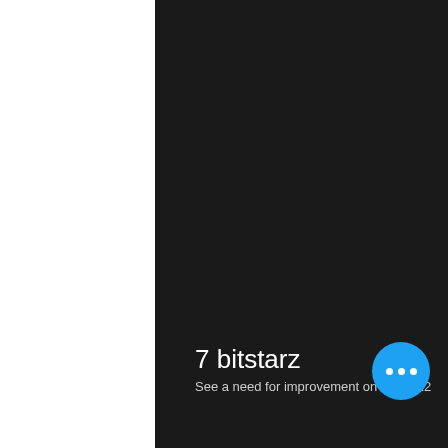[Figure (screenshot): Dark background panel (nearly black, #1a1a1a) taking up the right portion of the page, with white space on the left. Contains a title '7 bitstarz' in white text at the bottom left, partial subtitle text 'See a need for improvement on I over 22' at the very bottom, and a circular blue floating action button with three white dots (ellipsis) in the bottom right area.]